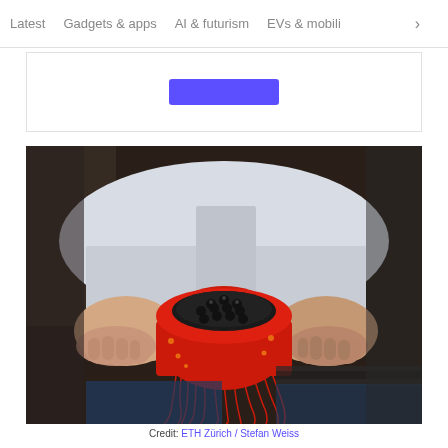Latest   Gadgets & apps   AI & futurism   EVs & mobili >
[Figure (photo): Person in white shirt holding a red 3D-printed dome-shaped device with multiple black cylindrical sensors on top and red wires hanging below, resembling a jellyfish or EEG cap prototype.]
Credit: ETH Zürich / Stefan Weiss